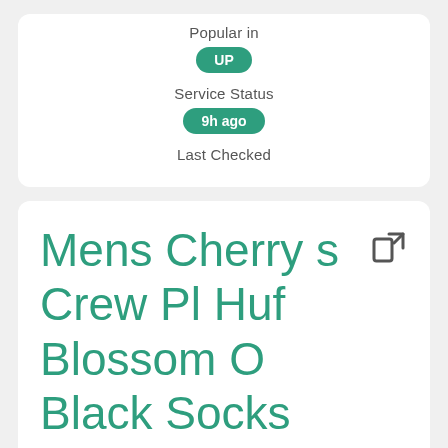Popular in
UP
Service Status
9h ago
Last Checked
Mens Cherry s Crew Pl Huf Blossom O Black Socks UBqUwAxdg for ...